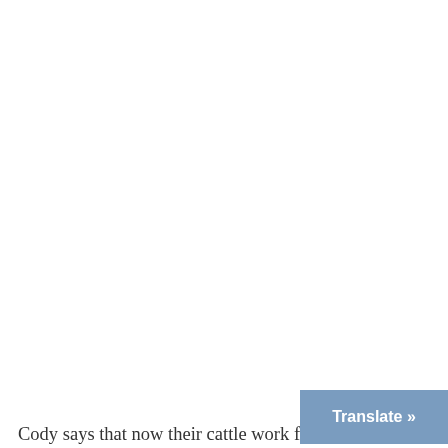Cody says that now their cattle work for t…
[Figure (other): Translate button overlay — a blue-grey rectangular button with white bold text 'Translate »' positioned at the bottom right of the page]